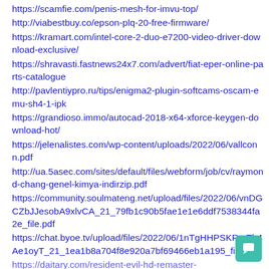https://scamfie.com/penis-mesh-for-imvu-top/
http://viabestbuy.co/epson-plq-20-free-firmware/
https://kramart.com/intel-core-2-duo-e7200-video-driver-download-exclusive/
https://shravasti.fastnews24x7.com/advert/fiat-eper-online-parts-catalogue
http://pavlentiypro.ru/tips/enigma2-plugin-softcams-oscam-emu-sh4-1-ipk
https://grandioso.immo/autocad-2018-x64-xforce-keygen-download-hot/
https://jelenalistes.com/wp-content/uploads/2022/06/vallconn.pdf
http://ua.5asec.com/sites/default/files/webform/job/cv/raymond-chang-genel-kimya-indirzip.pdf
https://community.soulmateng.net/upload/files/2022/06/vnDGCZbJJesobA9xlvCA_21_79fb1c90b5fae1e1e6ddf7538344fa2e_file.pdf
https://chat.byoe.tv/upload/files/2022/06/1nTgHHPSKRmTb4Ae1oyT_21_1ea1b8a704f8e920a7bf69466eb1a195_file.pdf
https://daitary.com/resident-evil-hd-remaster-...